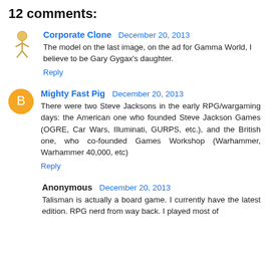12 comments:
Corporate Clone  December 20, 2013
The model on the last image, on the ad for Gamma World, I believe to be Gary Gygax's daughter.
Reply
Mighty Fast Pig  December 20, 2013
There were two Steve Jacksons in the early RPG/wargaming days: the American one who founded Steve Jackson Games (OGRE, Car Wars, Illuminati, GURPS, etc.), and the British one, who co-founded Games Workshop (Warhammer, Warhammer 40,000, etc)
Reply
Anonymous  December 20, 2013
Talisman is actually a board game. I currently have the latest edition. RPG nerd from way back. I played most of